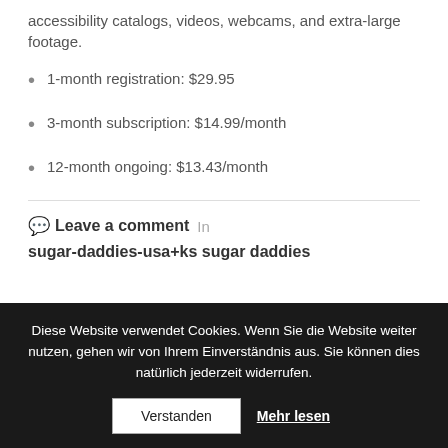accessibility catalogs, videos, webcams, and extra-large footage.
1-month registration: $29.95
3-month subscription: $14.99/month
12-month ongoing: $13.43/month
Leave a comment  In sugar-daddies-usa+ks sugar daddies
Diese Website verwendet Cookies. Wenn Sie die Website weiter nutzen, gehen wir von Ihrem Einverständnis aus. Sie können dies natürlich jederzeit widerrufen.